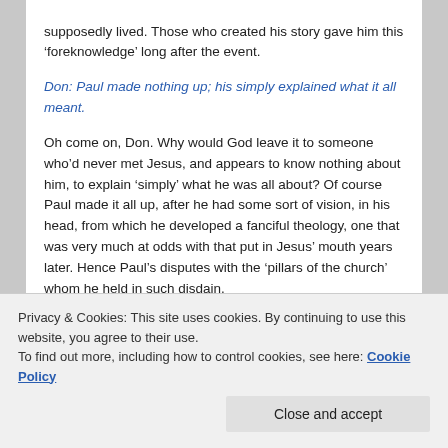supposedly lived. Those who created his story gave him this 'foreknowledge' long after the event.
Don: Paul made nothing up; his simply explained what it all meant.
Oh come on, Don. Why would God leave it to someone who'd never met Jesus, and appears to know nothing about him, to explain 'simply' what he was all about? Of course Paul made it all up, after he had some sort of vision, in his head, from which he developed a fanciful theology, one that was very much at odds with that put in Jesus' mouth years later. Hence Paul's disputes with the 'pillars of the church' whom he held in such disdain.
Privacy & Cookies: This site uses cookies. By continuing to use this website, you agree to their use.
To find out more, including how to control cookies, see here: Cookie Policy
Close and accept